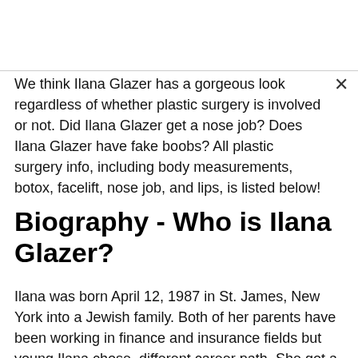We think Ilana Glazer has a gorgeous look regardless of whether plastic surgery is involved or not. Did Ilana Glazer get a nose job? Does Ilana Glazer have fake boobs? All plastic surgery info, including body measurements, botox, facelift, nose job, and lips, is listed below!
Biography - Who is Ilana Glazer?
Ilana was born April 12, 1987 in St. James, New York into a Jewish family. Both of her parents have been working in finance and insurance fields but young Ilana chose  different career path. She got a college